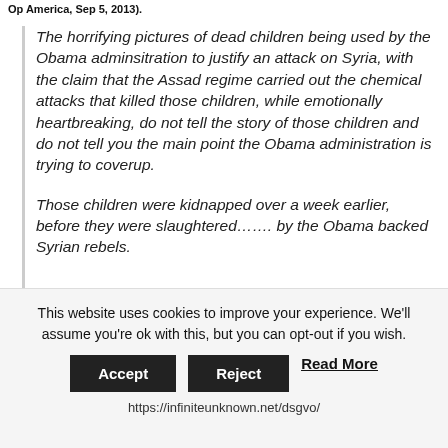Op America, Sep 5, 2013).
The horrifying pictures of dead children being used by the Obama adminsitration to justify an attack on Syria, with the claim that the Assad regime carried out the chemical attacks that killed those children, while emotionally heartbreaking, do not tell the story of those children and do not tell you the main point the Obama administration is trying to coverup.

Those children were kidnapped over a week earlier, before they were slaughtered……. by the Obama backed Syrian rebels.
This website uses cookies to improve your experience. We'll assume you're ok with this, but you can opt-out if you wish.
Accept  Reject  Read More
https://infiniteunknown.net/dsgvo/